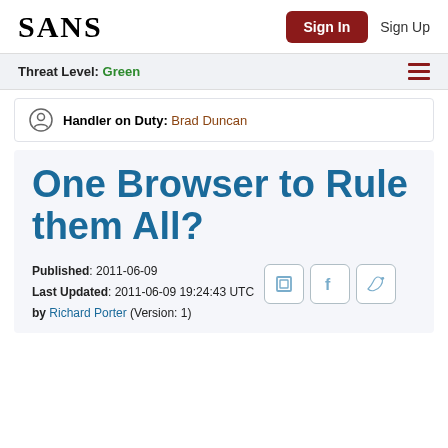SANS | Sign In | Sign Up
Threat Level: Green
Handler on Duty: Brad Duncan
One Browser to Rule them All?
Published: 2011-06-09
Last Updated: 2011-06-09 19:24:43 UTC
by Richard Porter (Version: 1)